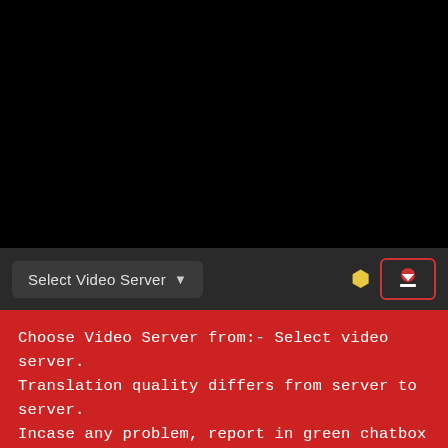[Figure (screenshot): Black video player area]
[Figure (screenshot): Video server selection controls bar with 'Select Video Server' dropdown, a yellow lightbulb icon, and a red-bordered download button]
Choose Video Server from:- Select video server. Translation quality differs from server to server. Incase any problem, report in green chatbox at the bottom right corner of screen(for both desktop and mobile users).
[Figure (screenshot): Bottom dark bar with a green button partially visible]